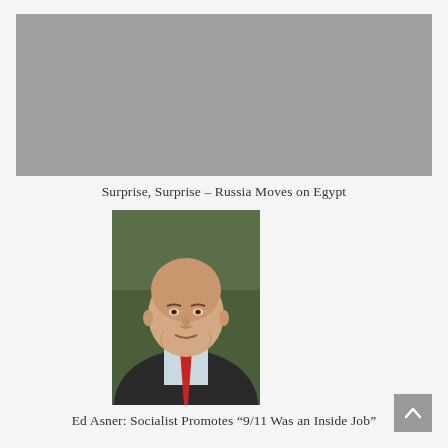[Figure (other): Gray advertisement placeholder box at top of page]
Surprise, Surprise – Russia Moves on Egypt
[Figure (photo): Portrait photo of Ed Asner, elderly bald man wearing a red tie and dark jacket, against a blurred green background]
Ed Asner: Socialist Promotes "9/11 Was an Inside Job"